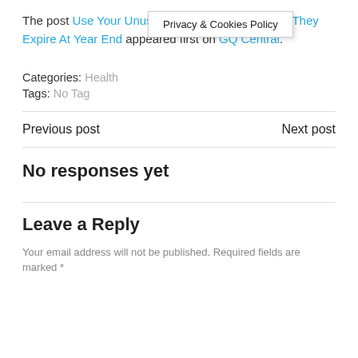Privacy & Cookies Policy
The post Use Your Unused Dental Benefits Before They Expire At Year End appeared first on GQ Central.
Categories:  Health
Tags:  No Tag
Previous post    Next post
No responses yet
Leave a Reply
Your email address will not be published. Required fields are marked *